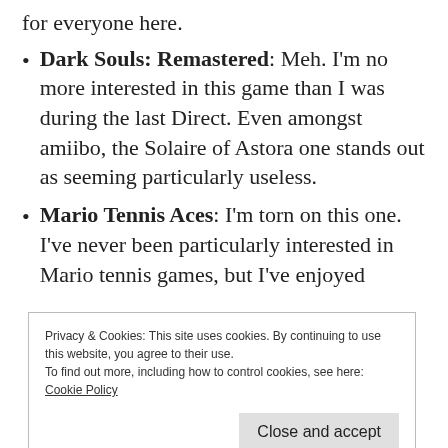for everyone here.
Dark Souls: Remastered: Meh. I'm no more interested in this game than I was during the last Direct. Even amongst amiibo, the Solaire of Astora one stands out as seeming particularly useless.
Mario Tennis Aces: I'm torn on this one. I've never been particularly interested in Mario tennis games, but I've enjoyed
Privacy & Cookies: This site uses cookies. By continuing to use this website, you agree to their use.
To find out more, including how to control cookies, see here:
Cookie Policy
Close and accept
from its pre-launch online tournament